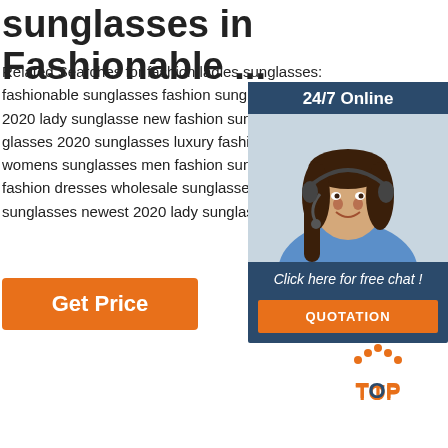sunglasses in Fashionable ...
Related Searches for fashion ladies sunglasses: fashionable sunglasses fashion sunglasses newest 2020 lady sunglasse new fashion sunglasses glasses 2020 sunglasses luxury fashion a womens sunglasses men fashion sunglas fashion dresses wholesale sunglasses lad sunglasses newest 2020 lady sunglasse n
[Figure (other): Chat widget with 24/7 Online header, woman with headset photo, 'Click here for free chat!' text, and QUOTATION button]
[Figure (other): Orange Get Price button]
[Figure (logo): TOP icon with orange dotted triangle and orange/dark text 'TOP']